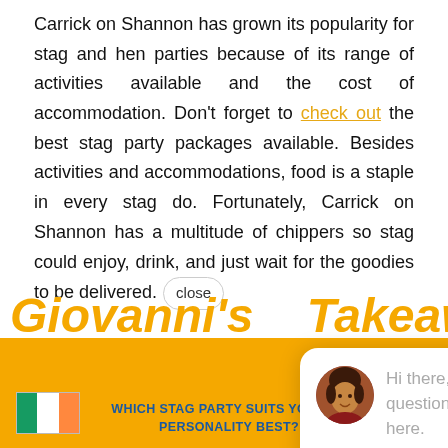Carrick on Shannon has grown its popularity for stag and hen parties because of its range of activities available and the cost of accommodation. Don't forget to check out the best stag party packages available. Besides activities and accommodations, food is a staple in every stag do. Fortunately, Carrick on Shannon has a multitude of chippers so stag could enjoy, drink, and just wait for the goodies to be delivered. [close]
Here are the r... st chipper.
[Figure (screenshot): Chat popup with avatar of a woman and text: Hi there, have a question? Chat us here.]
Giovanni's  Takeaway
WHICH STAG PARTY SUITS YOUR S... PERSONALITY BEST?